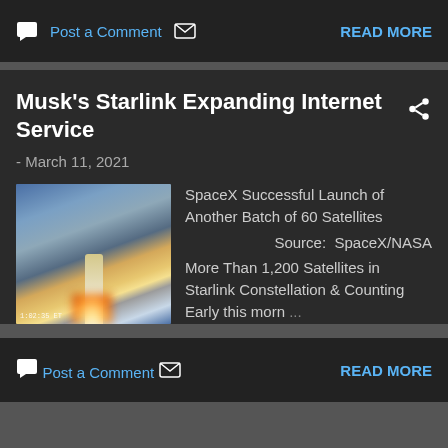Post a Comment  READ MORE
Musk's Starlink Expanding Internet Service
- March 11, 2021
[Figure (photo): SpaceX rocket launch with smoke and fire at liftoff]
SpaceX Successful Launch of Another Batch of 60 Satellites  Source:  SpaceX/NASA  More Than 1,200 Satellites in Starlink Constellation & Counting Early this morn ...
Post a Comment  READ MORE